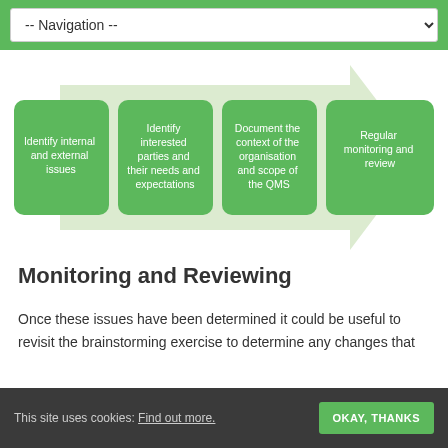-- Navigation --
[Figure (infographic): A process flow diagram with a large light-green arrow pointing right. Four green rounded-rectangle boxes sit on the arrow labeled: 'Identify internal and external issues', 'Identify interested parties and their needs and expectations', 'Document the context of the organisation and scope of the QMS', 'Regular monitoring and review'.]
Monitoring and Reviewing
Once these issues have been determined it could be useful to revisit the brainstorming exercise to determine any changes that
This site uses cookies: Find out more. OKAY, THANKS